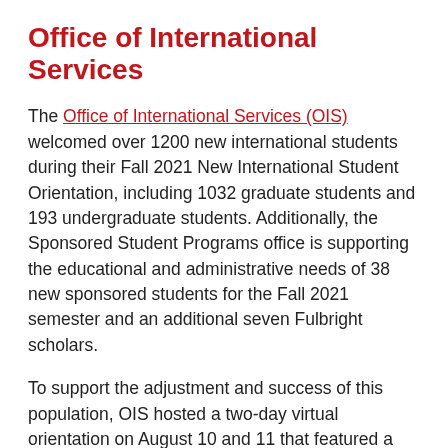Office of International Services
The Office of International Services (OIS) welcomed over 1200 new international students during their Fall 2021 New International Student Orientation, including 1032 graduate students and 193 undergraduate students. Additionally, the Sponsored Student Programs office is supporting the educational and administrative needs of 38 new sponsored students for the Fall 2021 semester and an additional seven Fulbright scholars.
To support the adjustment and success of this population, OIS hosted a two-day virtual orientation on August 10 and 11 that featured a student panel, a student success presentation, and a faculty panel,